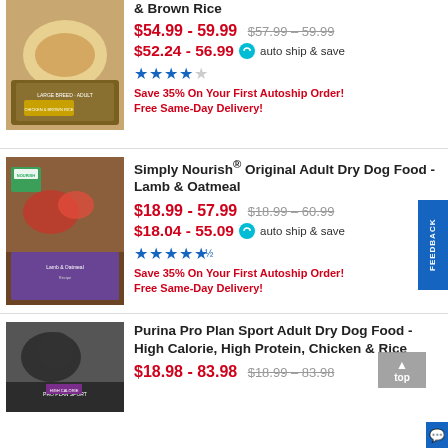[Figure (photo): Dog food product package - chicken and brown rice variety]
& Brown Rice
$54.99 - 59.99
$57.99 - 59.99
$52.24 - 56.99 auto ship & save
Save 35% On Your First Autoship Order! Free Same-Day Delivery!
[Figure (photo): Simply Nourish dog food package - Lamb & Oatmeal]
Simply Nourish® Original Adult Dry Dog Food - Lamb & Oatmeal
$18.99 - 57.99
$18.99 - 60.99
$18.04 - 55.09 auto ship & save
Save 35% On Your First Autoship Order! Free Same-Day Delivery!
[Figure (photo): Purina Pro Plan Sport dog food bag]
Purina Pro Plan Sport Adult Dry Dog Food - High Calorie, High Protein, Chicken & Rice
$18.98 - 83.98
$18.99 - 83.98